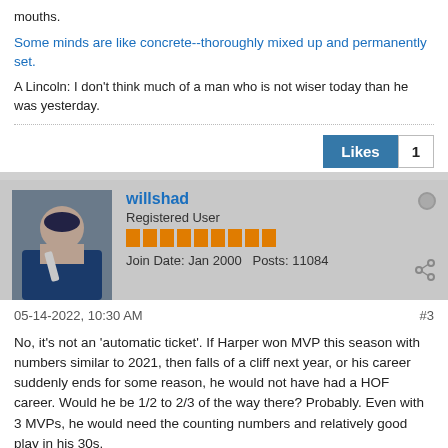mouths.
Some minds are like concrete--thoroughly mixed up and permanently set.
A Lincoln: I don't think much of a man who is not wiser today than he was yesterday.
Likes 1
willshad
Registered User
Join Date: Jan 2000   Posts: 11084
05-14-2022, 10:30 AM
#3
No, it's not an 'automatic ticket'. If Harper won MVP this season with numbers similar to 2021, then falls of a cliff next year, or his career suddenly ends for some reason, he would not have had a HOF career. Would he be 1/2 to 2/3 of the way there? Probably. Even with 3 MVPs, he would need the counting numbers and relatively good play in his 30s.
Last edited by willshad; 05-14-2022, 10:33 AM.